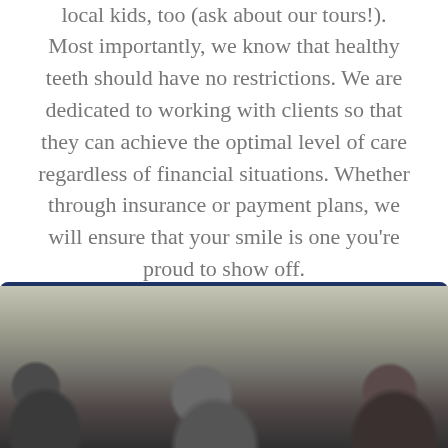local kids, too (ask about our tours!).
Most importantly, we know that healthy teeth should have no restrictions. We are dedicated to working with clients so that they can achieve the optimal level of care regardless of financial situations. Whether through insurance or payment plans, we will ensure that your smile is one you’re proud to show off.
GET A FREE CONSULTATION NOW
[Figure (photo): Group of people, partially visible from the shoulders up, appearing to be dental staff or patients in a clinical or office setting.]